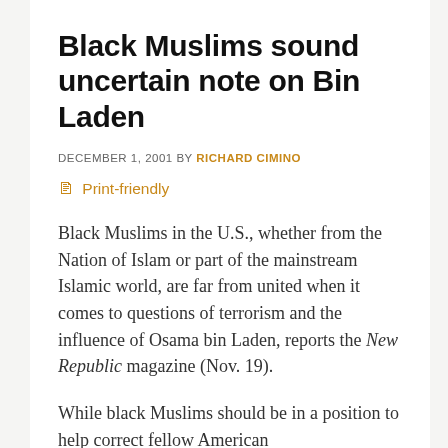Black Muslims sound uncertain note on Bin Laden
DECEMBER 1, 2001 BY RICHARD CIMINO
Print-friendly
Black Muslims in the U.S., whether from the Nation of Islam or part of the mainstream Islamic world, are far from united when it comes to questions of terrorism and the influence of Osama bin Laden, reports the New Republic magazine (Nov. 19).
While black Muslims should be in a position to help correct fellow American